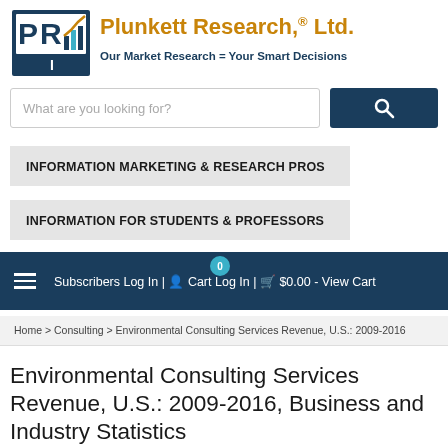[Figure (logo): Plunkett Research Ltd logo with PRI letters and chart graphic]
Plunkett Research,® Ltd.
Our Market Research = Your Smart Decisions
What are you looking for?
INFORMATION MARKETING & RESEARCH PROS
INFORMATION FOR STUDENTS & PROFESSORS
Subscribers Log In | Cart Log In | $0.00 - View Cart
Home > Consulting > Environmental Consulting Services Revenue, U.S.: 2009-2016
Environmental Consulting Services Revenue, U.S.: 2009-2016, Business and Industry Statistics